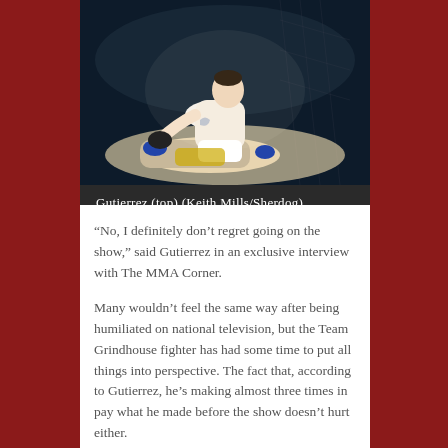[Figure (photo): Two MMA fighters in a cage, one on top of the other on the ground, during a fight]
Gutierrez (top) (Keith Mills/Sherdog)
“No, I definitely don’t regret going on the show,” said Gutierrez in an exclusive interview with The MMA Corner.
Many wouldn’t feel the same way after being humiliated on national television, but the Team Grindhouse fighter has had some time to put all things into perspective. The fact that, according to Gutierrez, he’s making almost three times in pay what he made before the show doesn’t hurt either.
“It was definitely a positive. There were